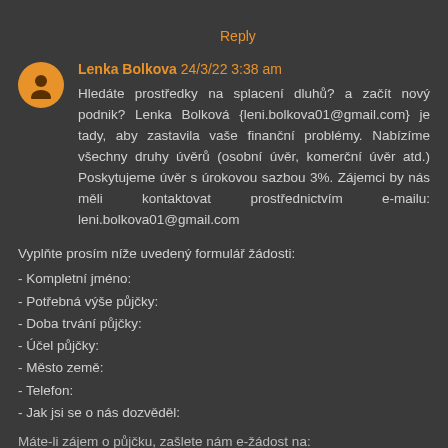Reply
Lenka Bolkova 24/3/22 3:38 am
Hledáte prostředky na splacení dluhů? a začít nový podnik? Lenka Bolková {leni.bolkova01@gmail.com} je tady, aby zastavila vaše finanční problémy. Nabízíme všechny druhy úvěrů (osobní úvěr, komerční úvěr atd.) Poskytujeme úvěr s úrokovou sazbou 3%. Zájemci by nás měli kontaktovat prostřednictvím e-mailu: leni.bolkova01@gmail.com
Vyplňte prosím níže uvedený formulář žádosti:
- Kompletní jméno:
- Potřebná výše půjčky:
- Doba trvání půjčky:
- Účel půjčky:
- Město země:
- Telefon:
- Jak jsi se o nás dozvěděl:
Máte-li zájem o půjčku, zašlete nám e-žádost na: